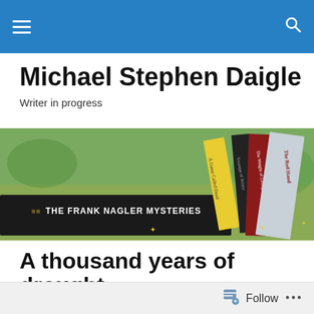Michael Stephen Daigle — navigation bar
Michael Stephen Daigle
Writer in progress
[Figure (photo): A photograph of stacked books from 'The Frank Nagler Mysteries' series, including 'A Game Called Dead', 'Swamps of Jersey', 'The Weight of Living', and 'The Red Hand', set against an outdoor background.]
A thousand years of drought
Thunder rumbles like distant gun fire,
The echoes of endless battle
Follow •••